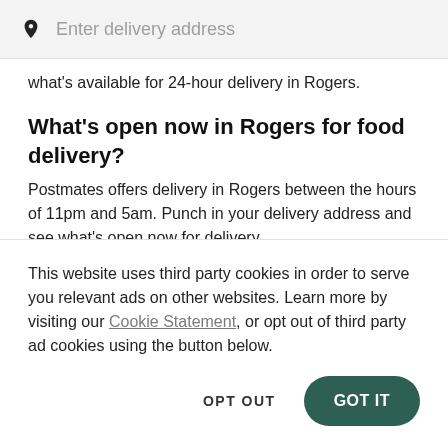[Figure (screenshot): Search bar with location pin icon and placeholder text 'Enter delivery address' on a light grey background]
what's available for 24-hour delivery in Rogers.
What's open now in Rogers for food delivery?
Postmates offers delivery in Rogers between the hours of 11pm and 5am. Punch in your delivery address and see what's open now for delivery.
Is contact-free delivery available with
This website uses third party cookies in order to serve you relevant ads on other websites. Learn more by visiting our Cookie Statement, or opt out of third party ad cookies using the button below.